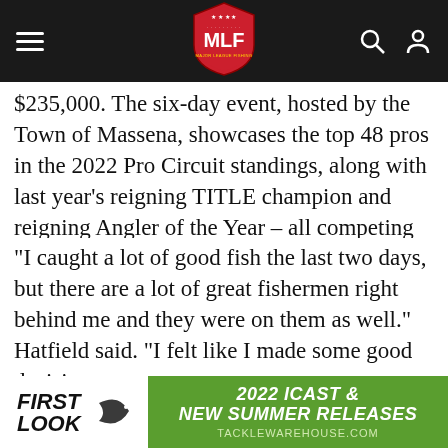MLF Major League Fishing navigation header
$235,000. The six-day event, hosted by the Town of Massena, showcases the top 48 pros in the 2022 Pro Circuit standings, along with last year’s reigning TITLE champion and reigning Angler of the Year – all competing for a purse of more than $800,000.
“I caught a lot of good fish the last two days, but there are a lot of great fishermen right behind me and they were on them as well.” Hatfield said. “I felt like I made some good decisions
We use Cookies to improve your browsing experience and help us improve our website. Our Privacy Policy and Terms of Service have changed. Click OK to agree.
[Figure (logo): 2022 ICAST & NEW SUMMER RELEASES TACKLEWAREHOUSE.COM advertisement banner with First Look logo on left]